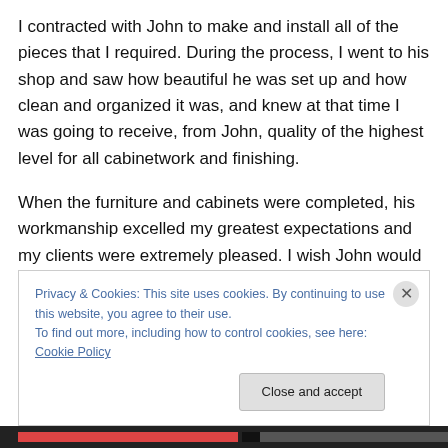I contracted with John to make and install all of the pieces that I required. During the process, I went to his shop and saw how beautiful he was set up and how clean and organized it was, and knew at that time I was going to receive, from John, quality of the highest level for all cabinetwork and finishing.
When the furniture and cabinets were completed, his workmanship excelled my greatest expectations and my clients were extremely pleased. I wish John would open a shop in Los Angeles, because of the quality of his work,
Privacy & Cookies: This site uses cookies. By continuing to use this website, you agree to their use.
To find out more, including how to control cookies, see here: Cookie Policy